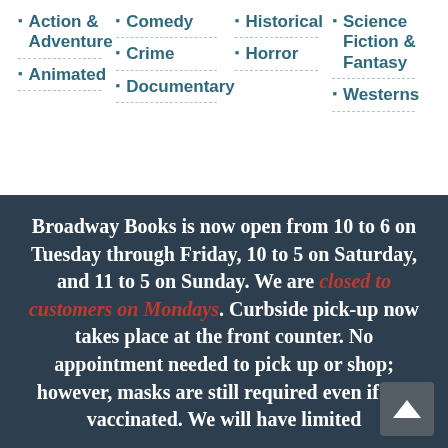Action & Adventure
Animated
Comedy
Crime
Documentary
Historical
Horror
Science Fiction & Fantasy
Westerns
Broadway Books is now open from 10 to 6 on Tuesday through Friday, 10 to 5 on Saturday, and 11 to 5 on Sunday. We are closed to customers on Mondays. Curbside pick-up now takes place at the front counter. No appointment needed to pick up or shop; however, masks are still required even if are vaccinated. We will have limited